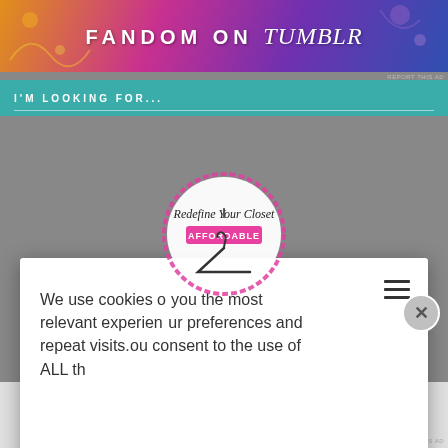[Figure (illustration): Fandom on Tumblr colorful banner with bold uppercase text 'FANDOM ON tumblr' on a gradient background]
I'M LOOKING FOR...
[Figure (logo): Redefine Your Closet logo - pink hand-drawn circle with script text 'Redefine Your Closet' and a clothes hanger illustration, pink banner with 'AFFORDABLE' text]
We use cookies on our website to give you the most relevant experience by remembering your preferences and repeat visits. By clicking "Accept", you consent to the use of ALL th
Cookie settings
ACCEPT
Weekend Getaway Packing And Style
Advertisements